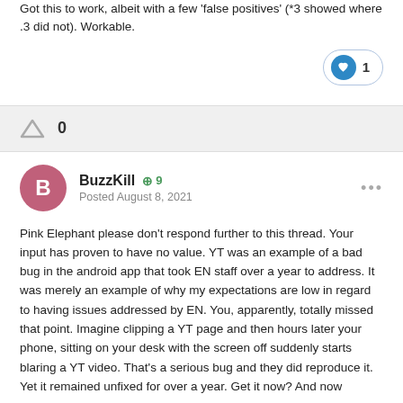Got this to work, albeit with a few 'false positives' (*3 showed where .3 did not). Workable.
[Figure (other): Like button with heart icon showing count of 1]
[Figure (other): Vote bar showing upvote arrow and count 0]
BuzzKill   +9
Posted August 8, 2021
Pink Elephant please don't respond further to this thread.  Your input has proven to have no value.  YT was an example of a bad bug in the android app that took EN staff over a year to address.  It was merely an example of why my expectations are low in regard to having issues addressed by EN.  You, apparently, totally missed that point.  Imagine clipping a YT page and then hours later your phone, sitting on your desk with the screen off suddenly starts blaring a YT video.  That's a serious bug and they did reproduce it.  Yet it remained unfixed for over a year.  Get it now?  And now